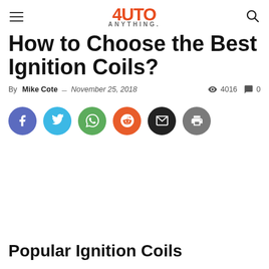AUTO ANYTHING.
How to Choose the Best Ignition Coils?
By Mike Cote – November 25, 2018  4016  0
[Figure (infographic): Social sharing buttons: Facebook (blue-purple), Twitter (cyan), WhatsApp (green), Reddit (orange), Email (dark), Print (gray)]
Popular Ignition Coils